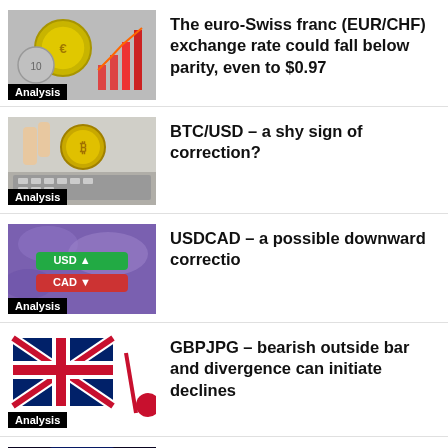[Figure (photo): Coins and bar chart thumbnail with Analysis badge]
The euro-Swiss franc (EUR/CHF) exchange rate could fall below parity, even to $0.97
[Figure (photo): Bitcoin coin and laptop thumbnail with Analysis badge]
BTC/USD – a shy sign of correction?
[Figure (photo): USDCAD trading screen thumbnail with Analysis badge]
USDCAD – a possible downward correction
[Figure (photo): UK flag and red dot thumbnail with Analysis badge]
GBPJPG – bearish outside bar and divergence can initiate declines
[Figure (photo): Bitcoin fire thumbnail with Analysis badge]
Bitcoin: The Current Chart Looks Like A First Stages Of Market Manipulation. Interest In BTC From Major Investors Is Growing